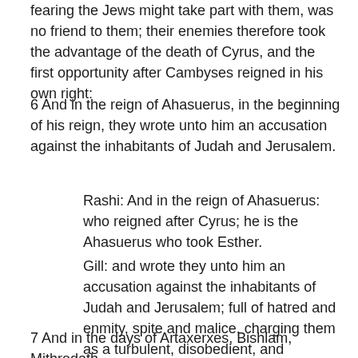fearing the Jews might take part with them, was no friend to them; their enemies therefore took the advantage of the death of Cyrus, and the first opportunity after Cambyses reigned in his own right:
6 And in the reign of Ahasuerus, in the beginning of his reign, they wrote unto him an accusation against the inhabitants of Judah and Jerusalem.
Rashi: And in the reign of Ahasuerus: who reigned after Cyrus; he is the Ahasuerus who took Esther.
Gill: and wrote they unto him an accusation against the inhabitants of Judah and Jerusalem; full of hatred and enmity, spite and malice, charging them as a turbulent, disobedient, and rebellious people.
7 And in the days of Artaxerxes, Bishlam, Mithredath,